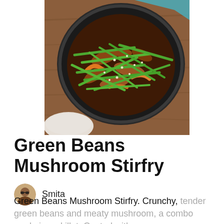[Figure (photo): Overhead view of a black skillet/wok on a wooden surface containing green beans and mushroom stir fry with sesame seeds, with a light blue and white cloth visible at top and a white bowl visible at bottom left of frame.]
Green Beans Mushroom Stirfry
Smita
Green Beans Mushroom Stirfry. Crunchy, tender green beans and meaty mushroom, a combo made in a skillet. Coated with a